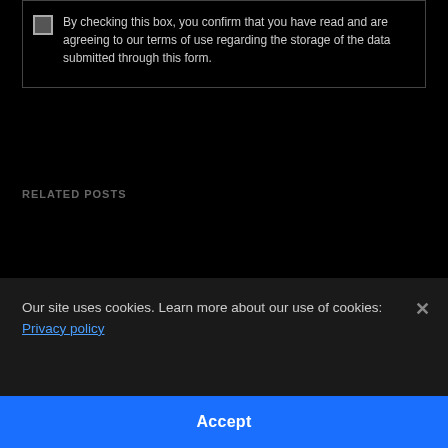By checking this box, you confirm that you have read and are agreeing to our terms of use regarding the storage of the data submitted through this form.
RELATED POSTS
Our site uses cookies. Learn more about our use of cookies: Privacy policy
Accept